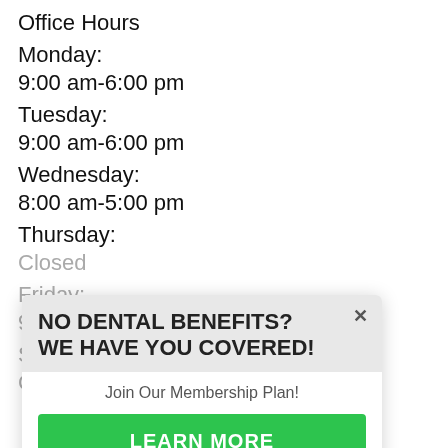Office Hours
Monday:
9:00 am-6:00 pm
Tuesday:
9:00 am-6:00 pm
Wednesday:
8:00 am-5:00 pm
Thursday:
Closed
Friday:
9:00 am-2:00 pm
Saturday:
Closed
[Figure (other): Popup advertisement: 'NO DENTAL BENEFITS? WE HAVE YOU COVERED! Join Our Membership Plan! LEARN MORE' with a green button and close X.]